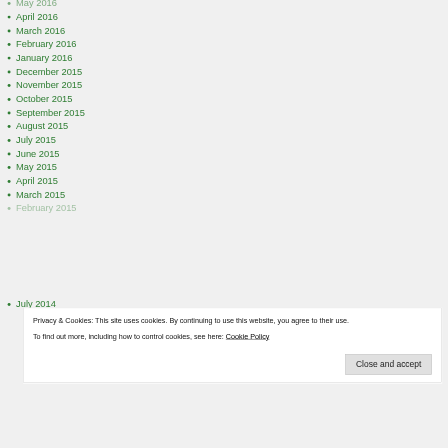April 2016
March 2016
February 2016
January 2016
December 2015
November 2015
October 2015
September 2015
August 2015
July 2015
June 2015
May 2015
April 2015
March 2015
Privacy & Cookies: This site uses cookies. By continuing to use this website, you agree to their use. To find out more, including how to control cookies, see here: Cookie Policy
July 2014